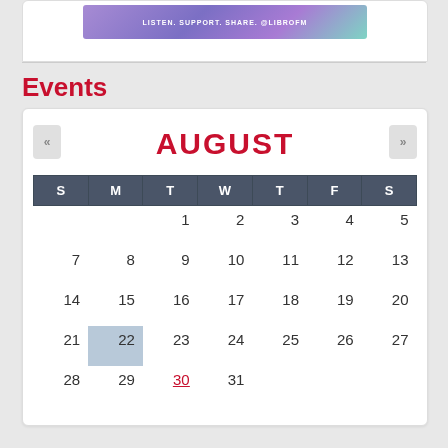[Figure (other): Purple/teal gradient banner reading LISTEN. SUPPORT. SHARE. @LIBROFM]
Events
| S | M | T | W | T | F | S |
| --- | --- | --- | --- | --- | --- | --- |
|  |  | 1 | 2 | 3 | 4 | 5 | 6 |
| 7 | 8 | 9 | 10 | 11 | 12 | 13 |
| 14 | 15 | 16 | 17 | 18 | 19 | 20 |
| 21 | 22 | 23 | 24 | 25 | 26 | 27 |
| 28 | 29 | 30 | 31 |  |  |  |